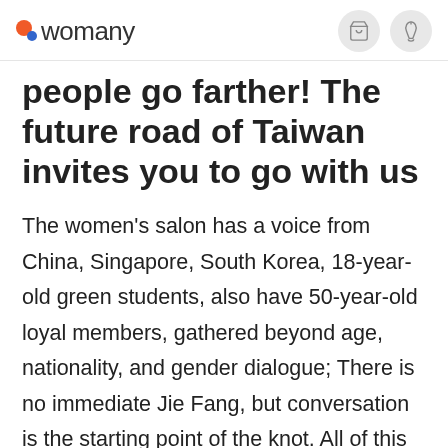womany
people go farther! The future road of Taiwan invites you to go with us
The women's salon has a voice from China, Singapore, South Korea, 18-year-old green students, also have 50-year-old loyal members, gathered beyond age, nationality, and gender dialogue; There is no immediate Jie Fang, but conversation is the starting point of the knot. All of this night sitting, without prejudice and color, only ask Taiwan's future. Too many people say this presidential election is the two women's war, but women fans believe that this is the starting point